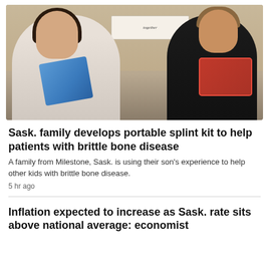[Figure (photo): A woman with long dark hair and glasses wearing a grey sweater holds a blue package, standing next to a boy with glasses wearing a black t-shirt who holds a red box. They are indoors with a beige wall and a decorative sign reading 'together' in the background.]
Sask. family develops portable splint kit to help patients with brittle bone disease
A family from Milestone, Sask. is using their son's experience to help other kids with brittle bone disease.
5 hr ago
Inflation expected to increase as Sask. rate sits above national average: economist